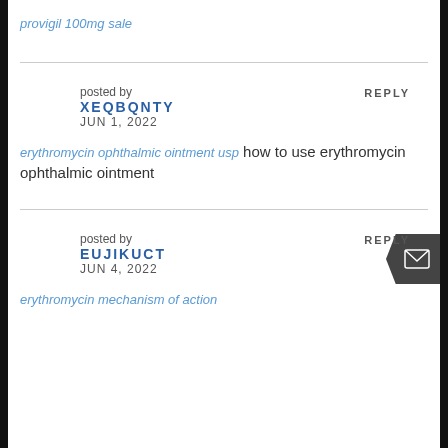provigil 100mg sale
posted by
XEQBQNTY
JUN 1, 2022
REPLY
erythromycin ophthalmic ointment usp how to use erythromycin ophthalmic ointment
posted by
EUJIKUCT
JUN 4, 2022
REPLY
erythromycin mechanism of action